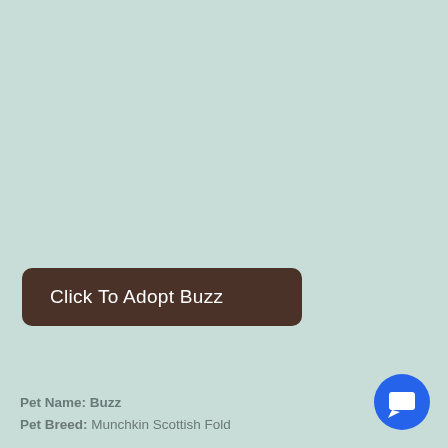[Figure (other): Large mint/sage green background area, likely a pet photo placeholder]
Click To Adopt Buzz
Pet Name: Buzz
Pet Breed: Munchkin Scottish Fold
[Figure (other): Blue circular chat/message button icon in the bottom right corner]